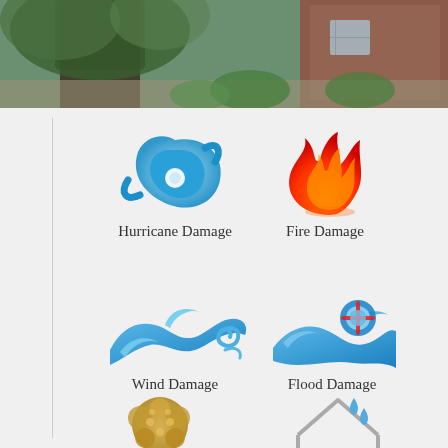[Figure (photo): Photo of a large tree next to a brick house with landscaping, taken outdoors]
[Figure (illustration): Hurricane damage icon - blue swirl/cyclone symbol]
Hurricane Damage
[Figure (illustration): Fire damage icon - orange and red flame symbol]
Fire Damage
[Figure (illustration): Wind damage icon - blue wave/wind swirl symbol]
Wind Damage
[Figure (illustration): Flood damage icon - blue wave with life preserver symbol]
Flood Damage
[Figure (illustration): Hail/mold damage icon - golden/yellow bubbly cluster symbol]
[Figure (illustration): Roof leak icon - gray house outline with blue water drops]